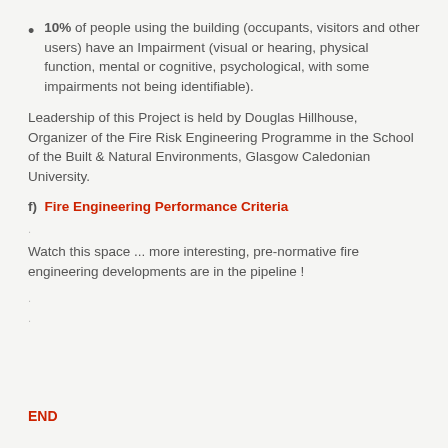10% of people using the building (occupants, visitors and other users) have an Impairment (visual or hearing, physical function, mental or cognitive, psychological, with some impairments not being identifiable).
Leadership of this Project is held by Douglas Hillhouse, Organizer of the Fire Risk Engineering Programme in the School of the Built & Natural Environments, Glasgow Caledonian University.
f)  Fire Engineering Performance Criteria
.
Watch this space ... more interesting, pre-normative fire engineering developments are in the pipeline !
.
.
END